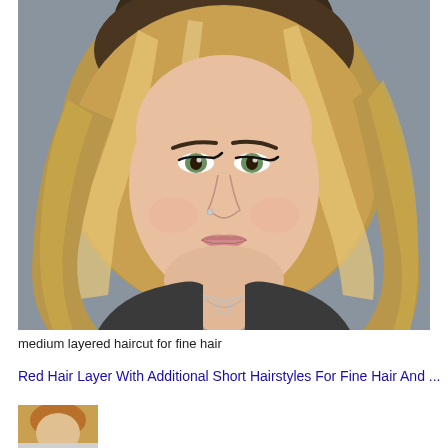[Figure (photo): Close-up portrait photo of a young woman with a medium layered bob haircut, blonde highlights and dark roots, green eyes with cat-eye liner, nose piercing, wearing a dark grey tank top with a delicate circle necklace, photographed against a grey background.]
medium layered haircut for fine hair
Red Hair Layer With Additional Short Hairstyles For Fine Hair And ...
[Figure (photo): Partial thumbnail of another hairstyle photo at the bottom of the page.]